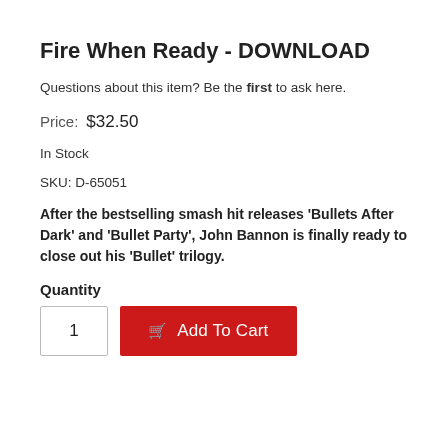Fire When Ready - DOWNLOAD
Questions about this item? Be the first to ask here.
Price:  $32.50
In Stock
SKU: D-65051
After the bestselling smash hit releases 'Bullets After Dark' and 'Bullet Party', John Bannon is finally ready to close out his 'Bullet' trilogy.
Quantity
1
Add To Cart